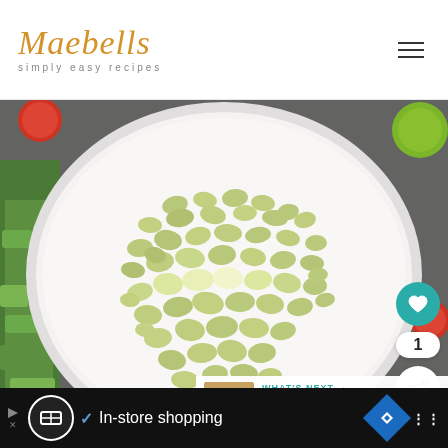Maebells simply easy recipes
[Figure (photo): Overhead photo of a white bowl filled with cooked lima beans (butter beans), surrounded by chopped green peppers, cherry tomatoes, and a lime on a dark stone surface.]
WHAT'S NEXT → Keto Taco Casserole
In-store shopping